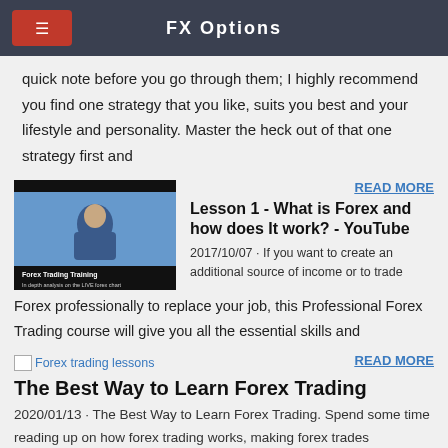FX Options
quick note before you go through them; I highly recommend you find one strategy that you like, suits you best and your lifestyle and personality. Master the heck out of that one strategy first and
[Figure (photo): Video thumbnail showing a person presenting Forex Trading Training with text 'In depth analysis on the LIVE forex chart']
READ MORE
Lesson 1 - What is Forex and how does It work? - YouTube
2017/10/07 · If you want to create an additional source of income or to trade Forex professionally to replace your job, this Professional Forex Trading course will give you all the essential skills and
[Figure (photo): Broken image placeholder labeled 'Forex trading lessons']
READ MORE
The Best Way to Learn Forex Trading
2020/01/13 · The Best Way to Learn Forex Trading. Spend some time reading up on how forex trading works, making forex trades